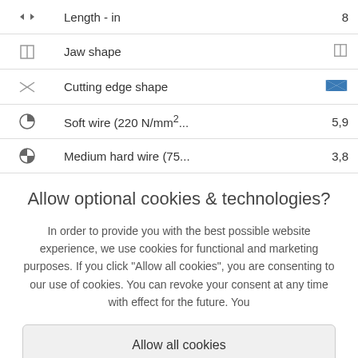| Icon | Property | Value |
| --- | --- | --- |
| ◄► | Length - in | 8 |
| □ | Jaw shape | □ |
| ⋈ | Cutting edge shape | (bow-tie icon) |
| ◕ | Soft wire (220 N/mm²... | 5,9 |
| ◑ | Medium hard wire (75... | 3,8 |
Allow optional cookies & technologies?
In order to provide you with the best possible website experience, we use cookies for functional and marketing purposes. If you click "Allow all cookies", you are consenting to our use of cookies. You can revoke your consent at any time with effect for the future. You
Allow all cookies
Change cookie settings
Imprint   Privacy